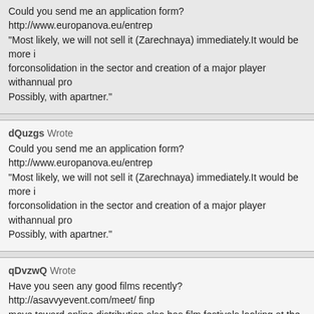Could you send me an application form? http://www.europanova.eu/entrep "Most likely, we will not sell it (Zarechnaya) immediately.It would be more i forconsolidation in the sector and creation of a major player withannual pro Possibly, with apartner."
dQuzgs Wrote
Could you send me an application form? http://www.europanova.eu/entrep "Most likely, we will not sell it (Zarechnaya) immediately.It would be more i forconsolidation in the sector and creation of a major player withannual pro Possibly, with apartner."
qDvzwQ Wrote
Have you seen any good films recently? http://asavvyevent.com/meet/ finp move toward online distribution also has film festivals looking at the role th especially as curators in a space where there are virtually limitless options
qDvzwQ Wrote
Have you seen any good films recently? http://asavvyevent.com/meet/ finp move toward online distribution also has film festivals looking at the role th especially as curators in a space where there are virtually limitless options